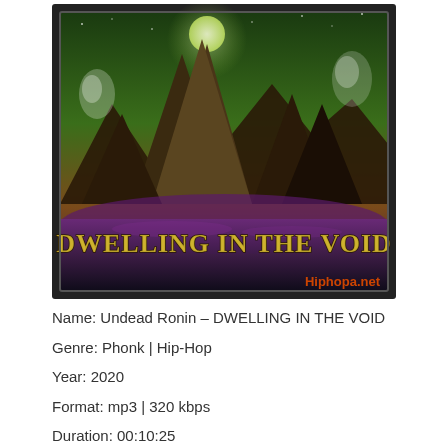[Figure (illustration): Album cover art for 'Dwelling in the Void' by Undead Ronin. Dark fantasy landscape with jagged mountain peaks, green sky with glowing moon, purple mist, ethereal figures floating, and bold stylized text 'DWELLING IN THE VOID' in golden-green letters. 'Hiphopa.net' watermark in orange at bottom-right.]
Name: Undead Ronin – DWELLING IN THE VOID
Genre: Phonk | Hip-Hop
Year: 2020
Format: mp3 | 320 kbps
Duration: 00:10:25
Size: 24 Mb
props by HipHopA.net